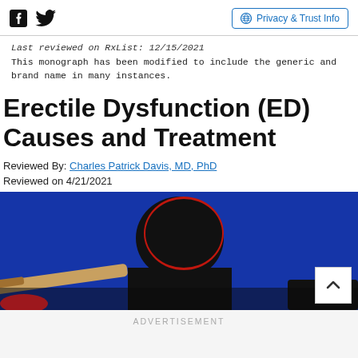Privacy & Trust Info
Last reviewed on RxList: 12/15/2021
This monograph has been modified to include the generic and brand name in many instances.
Erectile Dysfunction (ED) Causes and Treatment
Reviewed By: Charles Patrick Davis, MD, PhD
Reviewed on 4/21/2021
[Figure (photo): Close-up silhouette of a person against a bright blue background, with a wooden bat or handle visible on the left side.]
ADVERTISEMENT